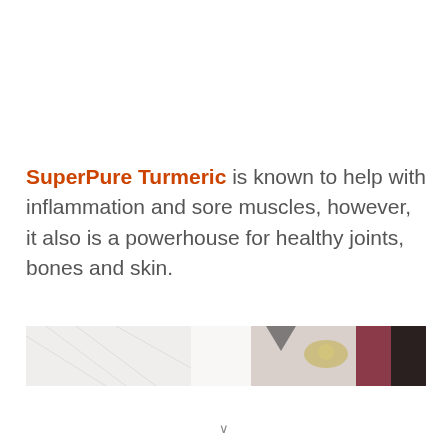SuperPure Turmeric is known to help with inflammation and sore muscles, however, it also is a powerhouse for healthy joints, bones and skin.
[Figure (photo): A partial view of what appears to be flatlay items including papers/books and decorative elements on a light background, partially cropped at the bottom of the visible area.]